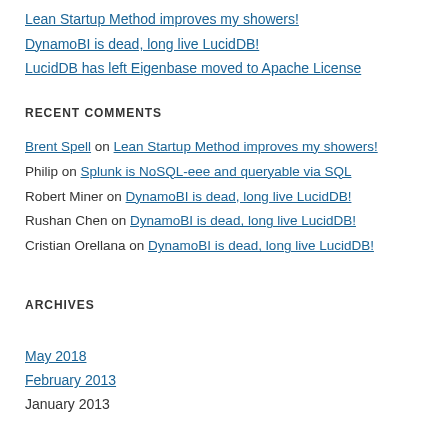Lean Startup Method improves my showers!
DynamoBI is dead, long live LucidDB!
LucidDB has left Eigenbase moved to Apache License
RECENT COMMENTS
Brent Spell on Lean Startup Method improves my showers!
Philip on Splunk is NoSQL-eee and queryable via SQL
Robert Miner on DynamoBI is dead, long live LucidDB!
Rushan Chen on DynamoBI is dead, long live LucidDB!
Cristian Orellana on DynamoBI is dead, long live LucidDB!
ARCHIVES
May 2018
February 2013
January 2013